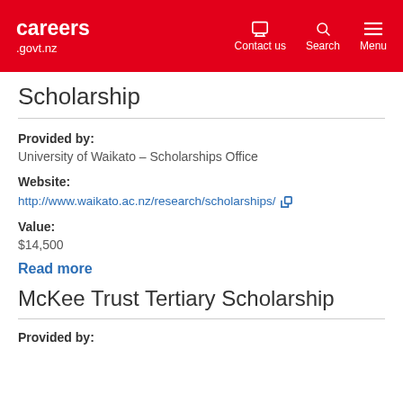careers .govt.nz | Contact us | Search | Menu
Scholarship
Provided by:
University of Waikato – Scholarships Office
Website:
http://www.waikato.ac.nz/research/scholarships/
Value:
$14,500
Read more
McKee Trust Tertiary Scholarship
Provided by: